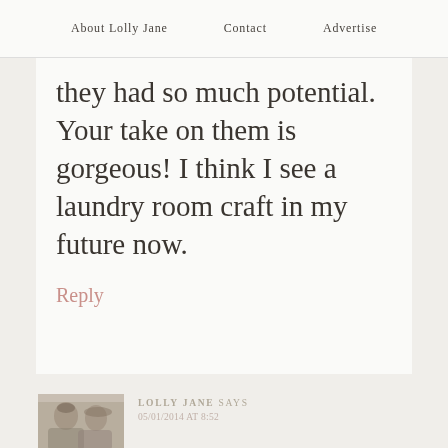About Lolly Jane   Contact   Advertise
they had so much potential. Your take on them is gorgeous! I think I see a laundry room craft in my future now.
Reply
[Figure (photo): Small thumbnail photo of two women, appears to be a blog author avatar for Lolly Jane]
LOLLY JANE says